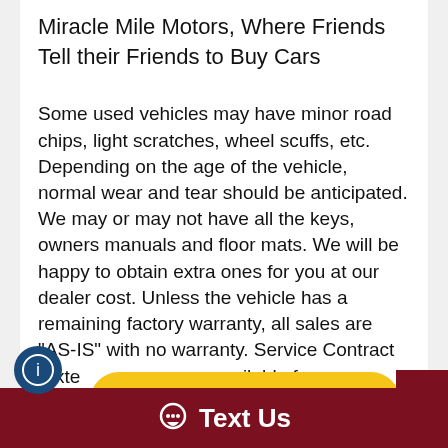Miracle Mile Motors, Where Friends Tell their Friends to Buy Cars
Some used vehicles may have minor road chips, light scratches, wheel scuffs, etc. Depending on the age of the vehicle, normal wear and tear should be anticipated. We may or may not have all the keys, owners manuals and floor mats. We will be happy to obtain extra ones for you at our dealer cost. Unless the vehicle has a remaining factory warranty, all sales are "AS-IS" with no warranty. Service Contract (exte... available for a... Title, License Fee, Registration Fee...
[Figure (other): Yellow rounded button with text 'Value Your Trade']
[Figure (other): Dark red square button with white up-arrow chevron icon (scroll to top)]
[Figure (other): Blue circular chat/info icon in bottom left corner]
Text Us